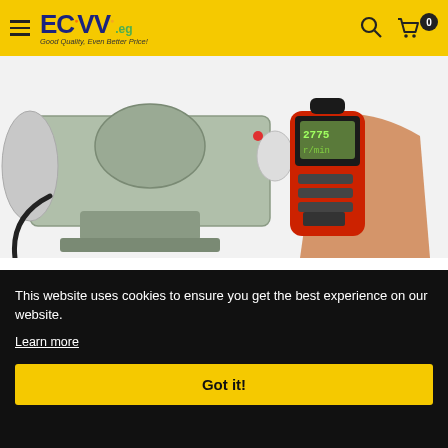ECVV .eg — Good Quality, Even Better Price!
[Figure (photo): A hand holding a red digital tachometer pointed at a green bench grinder motor on a white surface.]
This website uses cookies to ensure you get the best experience on our website.
Learn more
Got it!